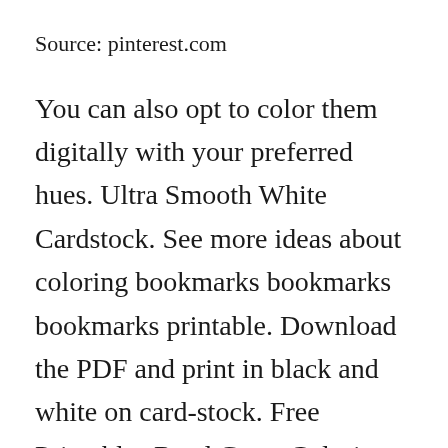Source: pinterest.com
You can also opt to color them digitally with your preferred hues. Ultra Smooth White Cardstock. See more ideas about coloring bookmarks bookmarks bookmarks printable. Download the PDF and print in black and white on card-stock. Free Printables Read Grow Coloring Bookmarks For Back To School Regarding Diy Printable Free Printable Bookmarks Coloring Bookmarks Coloring Bookmarks F…